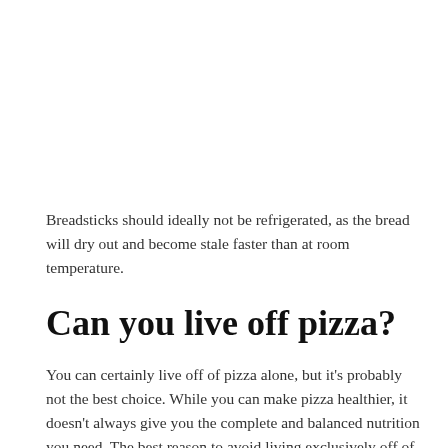Breadsticks should ideally not be refrigerated, as the bread will dry out and become stale faster than at room temperature.
Can you live off pizza?
You can certainly live off of pizza alone, but it's probably not the best choice. While you can make pizza healthier, it doesn't always give you the complete and balanced nutrition you need. The best reason to avoid living exclusively off of pizza, however, is that you don't want to